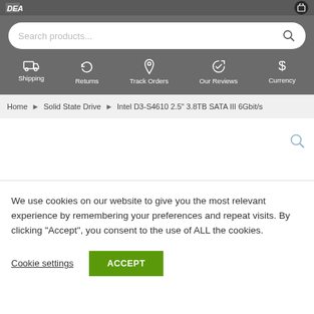DEALBOX - navigation header with search, shipping, returns, track orders, our reviews, currency
Search products...
Shipping  Returns  Track Orders  Our Reviews  Currency
Home > Solid State Drive > Intel D3-S4610 2.5" 3.8TB SATA III 6Gbit/s
[Figure (screenshot): Product image area with zoom icon (magnifying glass) in top right corner]
We use cookies on our website to give you the most relevant experience by remembering your preferences and repeat visits. By clicking "Accept", you consent to the use of ALL the cookies.
Cookie settings    ACCEPT